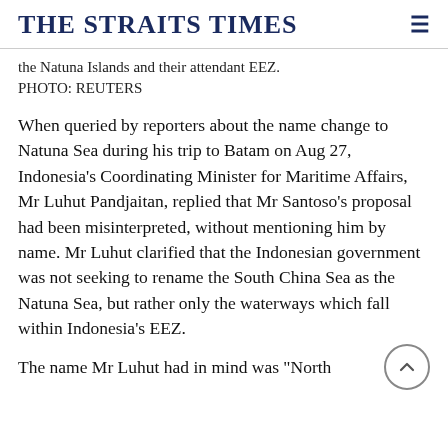THE STRAITS TIMES
the Natuna Islands and their attendant EEZ. PHOTO: REUTERS
When queried by reporters about the name change to Natuna Sea during his trip to Batam on Aug 27, Indonesia's Coordinating Minister for Maritime Affairs, Mr Luhut Pandjaitan, replied that Mr Santoso's proposal had been misinterpreted, without mentioning him by name. Mr Luhut clarified that the Indonesian government was not seeking to rename the South China Sea as the Natuna Sea, but rather only the waterways which fall within Indonesia's EEZ.
The name Mr Luhut had in mind was "North